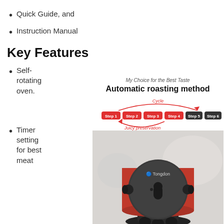Quick Guide, and
Instruction Manual
Key Features
Self-rotating oven.
[Figure (infographic): Automatic roasting method infographic showing steps 1-6 in a cycle with 'My Choice for the Best Taste' tagline, Cycle arc arrow above steps 1-4 (red buttons) and steps 5-6 (dark buttons), Juicy preservation arrow below, and a product photo of the Tongdon rotisserie oven (red and black).]
Timer setting for best meat